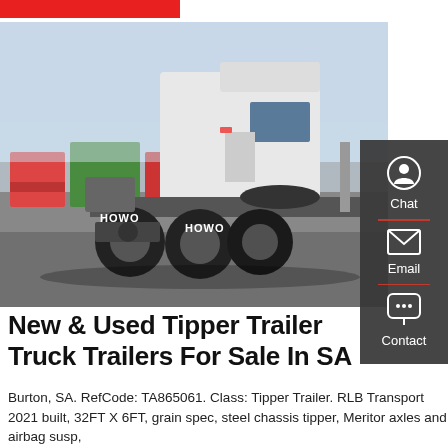[Figure (photo): Rear view of a white HOWO tractor truck in a truck yard with colorful trucks in the background]
New & Used Tipper Trailer Truck Trailers For Sale In SA
Burton, SA. RefCode: TA865061. Class: Tipper Trailer. RLB Transport 2021 built, 32FT X 6FT, grain spec, steel chassis tipper, Meritor axles and airbag susp,